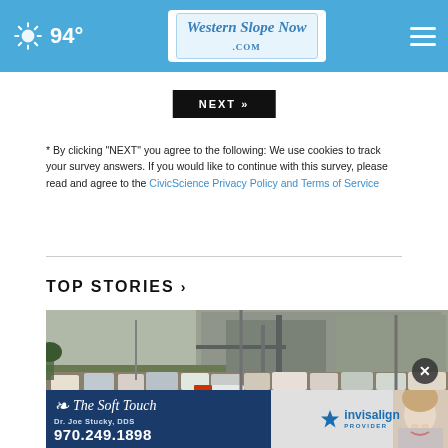94° WesternSlopeNow.com
[Figure (screenshot): NEXT button (dark background with white text)]
* By clicking "NEXT" you agree to the following: We use cookies to track your survey answers. If you would like to continue with this survey, please read and agree to the CivicScience Privacy Policy and Terms of Service
TOP STORIES ›
[Figure (photo): Heavy traffic on a highway near an industrial building, aerial view showing many cars and trucks backed up]
[Figure (screenshot): Advertisement for Dr. Joe Stucky DDS - The Soft Touch, phone 970.249.1898, Invisalign Provider, with woman smiling]